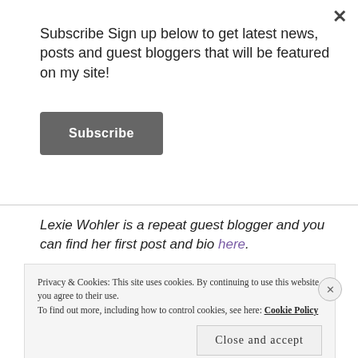Subscribe Sign up below to get latest news, posts and guest bloggers that will be featured on my site!
Subscribe
Lexie Wohler is a repeat guest blogger and you can find her first post and bio here.
Privacy & Cookies: This site uses cookies. By continuing to use this website, you agree to their use. To find out more, including how to control cookies, see here: Cookie Policy
Close and accept